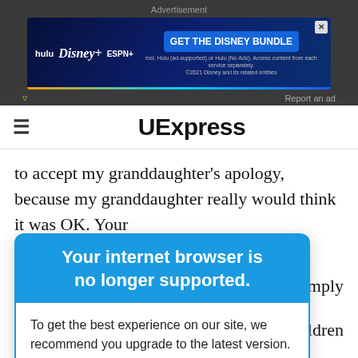Advertisement
[Figure (screenshot): Disney Bundle advertisement banner showing Hulu, Disney+, and ESPN+ logos with 'GET THE DISNEY BUNDLE' call to action button. Fine print reads: Incl. Hulu (ad-supported) or Hulu (No Ads). Access content from each service separately. ©2021 Disney and its related entities]
Report an ad
UExpress
to accept my granddaughter's apology, because my granddaughter really would think it was OK. Your
[Figure (screenshot): Browser compatibility warning overlay with blue header reading 'Your internet browser is no longer supported.' and white body reading 'To get the best experience on our site, we recommend you upgrade to the latest version.']
was simply
those children
nother